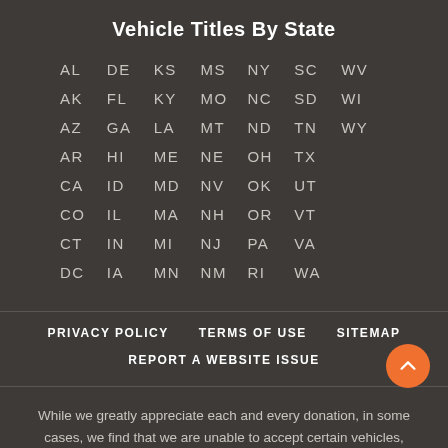Vehicle Titles By State
| AL | DE | KS | MS | NY | SC | WV |
| AK | FL | KY | MO | NC | SD | WI |
| AZ | GA | LA | MT | ND | TN | WY |
| AR | HI | ME | NE | OH | TX |  |
| CA | ID | MD | NV | OK | UT |  |
| CO | IL | MA | NH | OR | VT |  |
| CT | IN | MI | NJ | PA | VA |  |
| DC | IA | MN | NM | RI | WA |  |
PRIVACY POLICY   TERMS OF USE   SITEMAP   REPORT A WEBSITE ISSUE
While we greatly appreciate each and every donation, in some cases, we find that we are unable to accept certain vehicles, watercraft, and/or recreational vehicles due to the prohibitive costs of acquisition. If you have any questions, please give us a call at